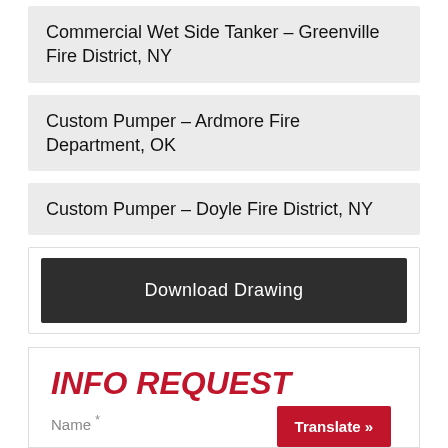Commercial Wet Side Tanker – Greenville Fire District, NY
Custom Pumper – Ardmore Fire Department, OK
Custom Pumper – Doyle Fire District, NY
Download Drawing
INFO REQUEST
Name *
Translate »